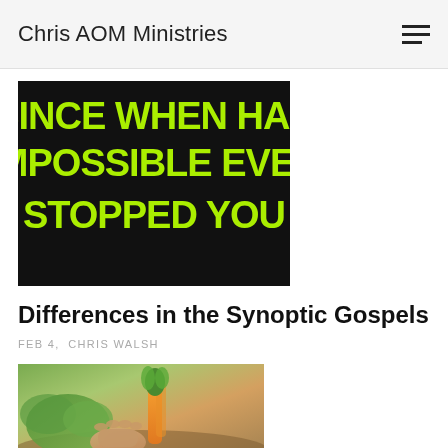Chris AOM Ministries
[Figure (illustration): Black background motivational image with bold neon green text: SINCE WHEN HAS IMPOSSIBLE EVER STOPPED YOU]
Differences in the Synoptic Gospels
FEB 4,  CHRIS WALSH
[Figure (photo): A person harvesting vegetables (carrots and leafy greens) from a garden]